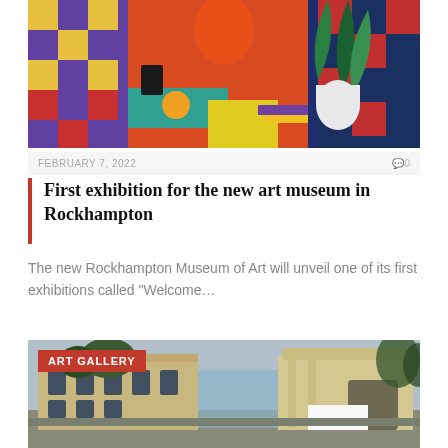[Figure (photo): Colorful painting with figures, checkerboard patterns, orange/red background, plant in white pitcher, yellow table with fruit]
FEBRUARY 7, 2022
0
First exhibition for the new art museum in Rockhampton
The new Rockhampton Museum of Art will unveil one of its first exhibitions called “Welcome…
[Figure (photo): Exterior photo of art gallery building, historic stone architecture with arched windows, modern glass addition, trees in background, ART GALLERY label overlay]